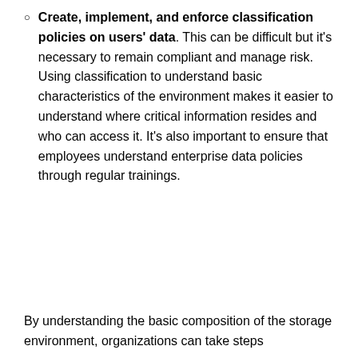Create, implement, and enforce classification policies on users' data. This can be difficult but it's necessary to remain compliant and manage risk. Using classification to understand basic characteristics of the environment makes it easier to understand where critical information resides and who can access it. It's also important to ensure that employees understand enterprise data policies through regular trainings.
By understanding the basic composition of the storage environment, organizations can take steps